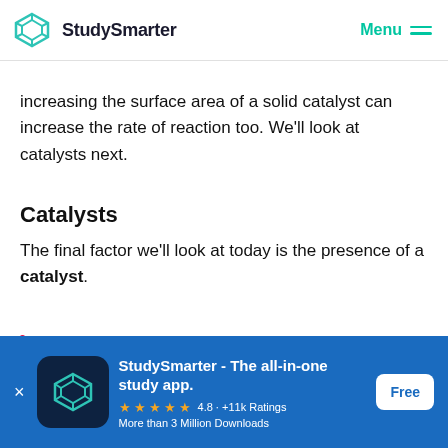StudySmarter   Menu
increasing the surface area of a solid catalyst can increase the rate of reaction too. We'll look at catalysts next.
Catalysts
The final factor we'll look at today is the presence of a catalyst.
Definition
[Figure (screenshot): StudySmarter app download banner with logo, star rating, and Free button]